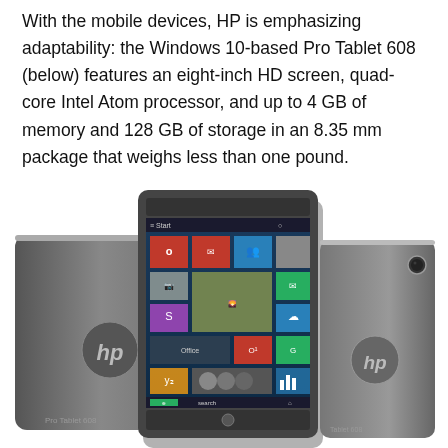With the mobile devices, HP is emphasizing adaptability: the Windows 10-based Pro Tablet 608 (below) features an eight-inch HD screen, quad-core Intel Atom processor, and up to 4 GB of memory and 128 GB of storage in an 8.35 mm package that weighs less than one pound.
[Figure (photo): HP Pro Tablet 608 shown from three angles: back-left view showing the HP logo and camera, front center view showing Windows 10 start screen on display, and back-right view showing HP logo and camera. Tablets are dark grey/silver in color.]